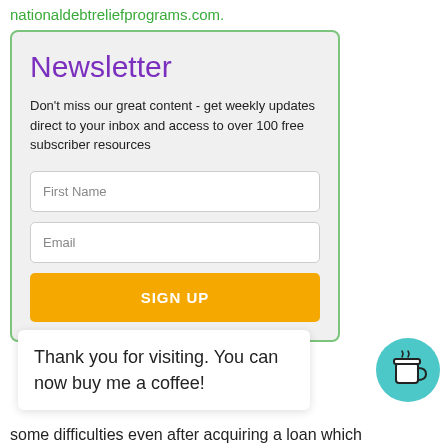nationaldebtreliefprograms.com.
Newsletter
Don't miss our great content - get weekly updates direct to your inbox and access to over 100 free subscriber resources
First Name
Email
SIGN UP
Thank you for visiting. You can now buy me a coffee!
some difficulties even after acquiring a loan which